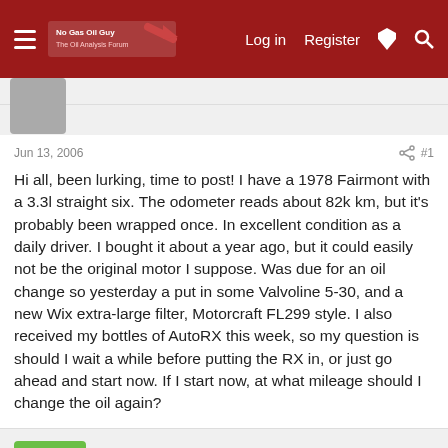Navigation bar with hamburger menu, logo, Log in, Register, lightning and search icons
Jun 13, 2006
Hi all, been lurking, time to post! I have a 1978 Fairmont with a 3.3l straight six. The odometer reads about 82k km, but it's probably been wrapped once. In excellent condition as a daily driver. I bought it about a year ago, but it could easily not be the original motor I suppose. Was due for an oil change so yesterday a put in some Valvoline 5-30, and a new Wix extra-large filter, Motorcraft FL299 style. I also received my bottles of AutoRX this week, so my question is should I wait a while before putting the RX in, or just go ahead and start now. If I start now, at what mileage should I change the oil again?
mcrn
Jun 13, 2006